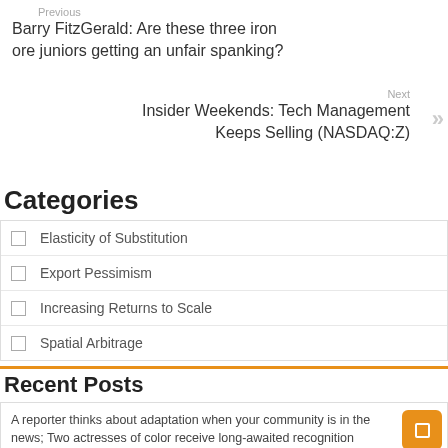Previous
Barry FitzGerald: Are these three iron ore juniors getting an unfair spanking?
Next
Insider Weekends: Tech Management Keeps Selling (NASDAQ:Z)
Categories
Elasticity of Substitution
Export Pessimism
Increasing Returns to Scale
Spatial Arbitrage
Recent Posts
A reporter thinks about adaptation when your community is in the news; Two actresses of color receive long-awaited recognition
Will the Chinese bubble finally burst? – SupChina